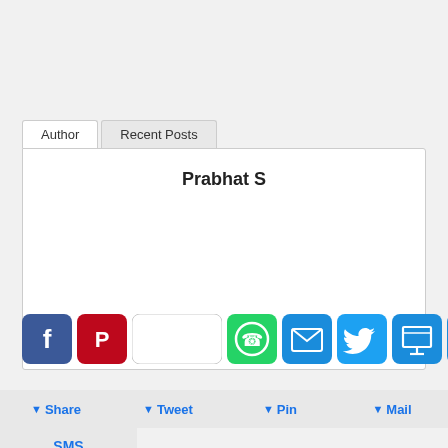Author | Recent Posts
Prabhat S
[Figure (infographic): Social share icon buttons: Facebook (blue), Pinterest (red), Save (white/gray border), WhatsApp (green), Email (blue), Twitter (light blue), Print (light blue), More/plus (light blue)]
Share  Tweet  Pin  Mail
SMS